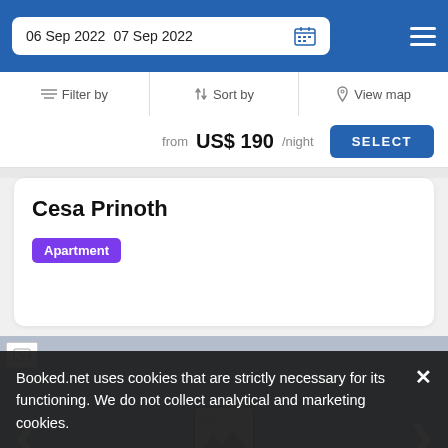06 Sep 2022  07 Sep 2022
Filter by  Sort by  View map
from US$ 190/night  SELECT
Cesa Prinoth
Apartment
[Figure (photo): Property image carousel placeholder with left and right arrows]
Booked.net uses cookies that are strictly necessary for its functioning. We do not collect analytical and marketing cookies.